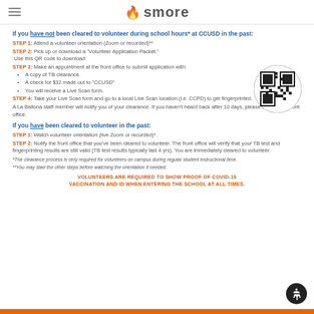smore
If you have not been cleared to volunteer during school hours* at CCUSD in the past:
STEP 1: Attend a volunteer orientation (Zoom or recorded)**
STEP 2: Pick up or download a 'Volunteer Application Packet.' Use this QR code to download:
[Figure (other): QR code for downloading Volunteer Application Packet]
STEP 3: Make an appointment at the front office to submit application with: A copy of TB clearance. A check for $32 made out to 'CCUSD'. You will receive a Live Scan form.
STEP 4: Take your Live Scan form and go to a local Live Scan location (i.e. CCPD) to get fingerprinted.
A La Ballona staff member will notify you of your clearance. If you haven't heard back after 10 days, please contact the front office.
If you have been cleared to volunteer in the past:
STEP 1: Watch volunteer orientation (live Zoom or recorded)*.
STEP 2: Notify the front office that you've been cleared to volunteer. The front office will verify that your TB test and fingerprinting results are still valid (TB test results typically last 4 yrs). You are immediately cleared to volunteer.
*The clearance process is only required for volunteers on campus during regular student instructional time.
**You may start the other steps before watching the orientation if needed.
VOLUNTEERS ARE REQUIRED TO SHOW PROOF OF COVID-19 VACCINATION AND ID WHEN ENTERING THE SCHOOL AT ALL TIMES.